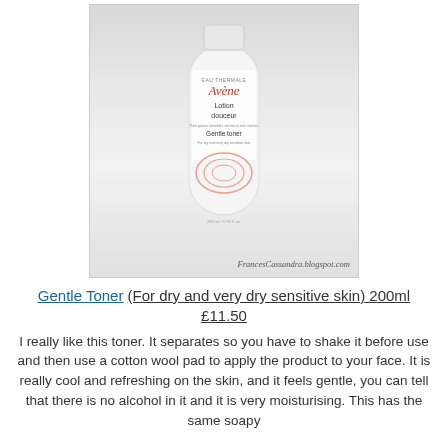[Figure (photo): Photo of Avène Lotion douceur Gentle Toner bottle on a white surface, with watermark FrancesCassandra.blogspot.com]
Gentle Toner (For dry and very dry sensitive skin) 200ml £11.50
I really like this toner. It separates so you have to shake it before use and then use a cotton wool pad to apply the product to your face. It is really cool and refreshing on the skin, and it feels gentle, you can tell that there is no alcohol in it and it is very moisturising. This has the same soapy